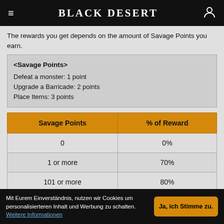Black Desert
The rewards you get depends on the amount of Savage Points you earn.
<Savage Points>
Defeat a monster: 1 point
Upgrade a Barricade: 2 points
Place Items: 3 points
| Savage Points | % of Reward |
| --- | --- |
| 0 | 0% |
| 1 or more | 70% |
| 101 or more | 80% |
Mit Eurem Einverständnis, nutzen wir Cookies um personalisierteren Inhalt und Werbung zu schalten. Weitere Informationen